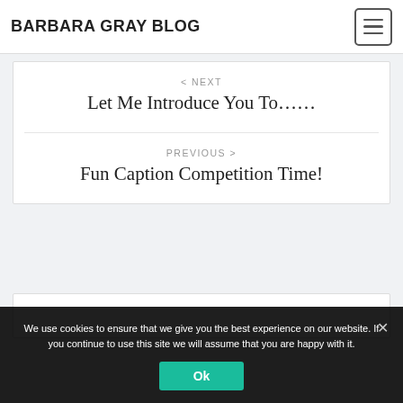BARBARA GRAY BLOG
< NEXT
Let Me Introduce You To……
PREVIOUS >
Fun Caption Competition Time!
We use cookies to ensure that we give you the best experience on our website. If you continue to use this site we will assume that you are happy with it.
Ok